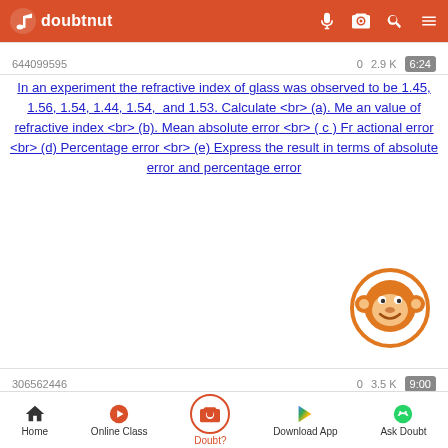doubtnut
644099595   0  2.9 K  6:24
In an experiment the refractive index of glass was observed to be 1.45, 1.56, 1.54, 1.44, 1.54,  and 1.53. Calculate <br> (a). Mean value of refractive index <br> (b). Mean absolute error <br> ( c ) Fractional error <br> (d) Percentage error <br> (e) Express the result in terms of absolute error and percentage error
[Figure (illustration): Orange monkey/mascot emoji icon]
306562446   0  3.5 K  9:00
Home  Online Class  Doubt?  Download App  Ask Doubt